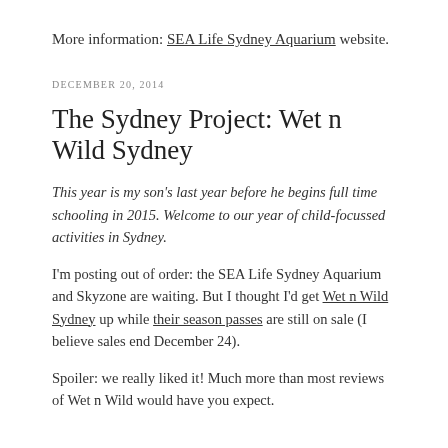More information: SEA Life Sydney Aquarium website.
DECEMBER 20, 2014
The Sydney Project: Wet n Wild Sydney
This year is my son’s last year before he begins full time schooling in 2015. Welcome to our year of child-focussed activities in Sydney.
I’m posting out of order: the SEA Life Sydney Aquarium and Skyzone are waiting. But I thought I’d get Wet n Wild Sydney up while their season passes are still on sale (I believe sales end December 24).
Spoiler: we really liked it! Much more than most reviews of Wet n Wild would have you expect.